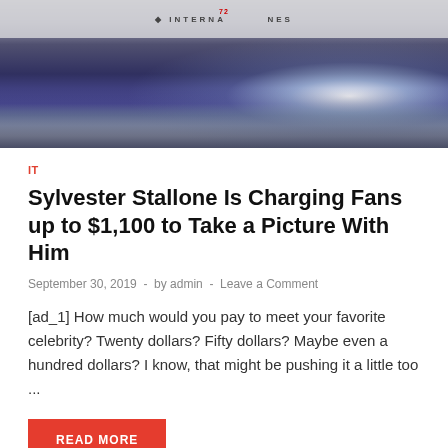[Figure (photo): Event photo showing people at what appears to be the Cannes International Film Festival, with bright starburst light effect in background and dark silhouettes of crowd in foreground]
IT
Sylvester Stallone Is Charging Fans up to $1,100 to Take a Picture With Him
September 30, 2019  -  by admin  -  Leave a Comment
[ad_1] How much would you pay to meet your favorite celebrity? Twenty dollars? Fifty dollars? Maybe even a hundred dollars? I know, that might be pushing it a little too ...
READ MORE